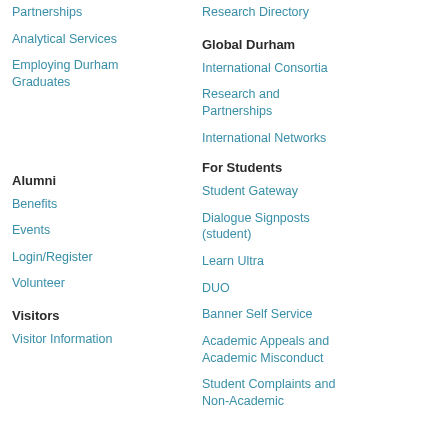Partnerships
Analytical Services
Employing Durham Graduates
Research Directory
Global Durham
International Consortia
Research and Partnerships
International Networks
Alumni
For Students
Benefits
Student Gateway
Events
Dialogue Signposts (student)
Login/Register
Learn Ultra
Volunteer
DUO
Visitors
Banner Self Service
Visitor Information
Academic Appeals and Academic Misconduct
Student Complaints and Non-Academic